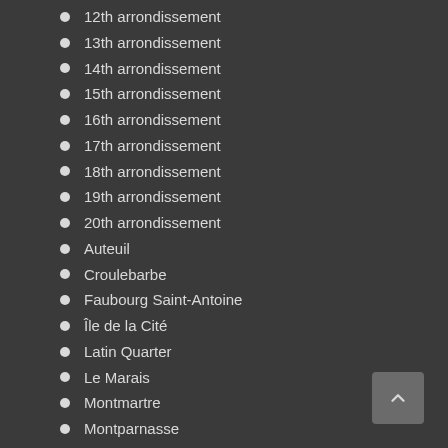12th arrondissement
13th arrondissement
14th arrondissement
15th arrondissement
16th arrondissement
17th arrondissement
18th arrondissement
19th arrondissement
20th arrondissement
Auteuil
Croulebarbe
Faubourg Saint-Antoine
Île de la Cité
Latin Quarter
Le Marais
Montmartre
Montparnasse
Passy
Saint-Germain-des-Prés
Reims